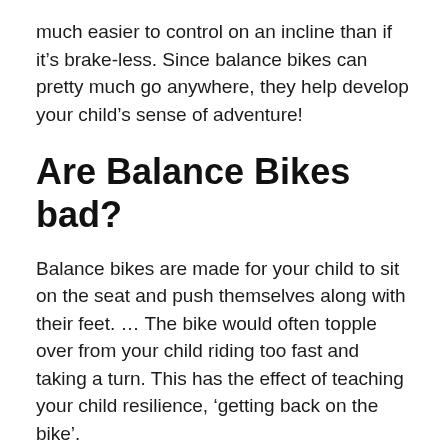much easier to control on an incline than if it's brake-less. Since balance bikes can pretty much go anywhere, they help develop your child's sense of adventure!
Are Balance Bikes bad?
Balance bikes are made for your child to sit on the seat and push themselves along with their feet. … The bike would often topple over from your child riding too fast and taking a turn. This has the effect of teaching your child resilience, 'getting back on the bike'.